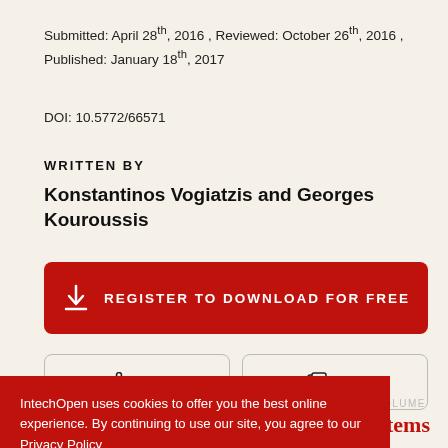Submitted: April 28th, 2016 , Reviewed: October 26th, 2016 , Published: January 18th, 2017
DOI: 10.5772/66571
WRITTEN BY
Konstantinos Vogiatzis and Georges Kouroussis
[Figure (other): Red download button with download icon and text REGISTER TO DOWNLOAD FOR FREE]
[Figure (other): Share and Cite buttons side by side with icons]
IntechOpen uses cookies to offer you the best online experience. By continuing to use our site, you agree to our Privacy Policy
Got it!
FROM THE EDITED VOLUME
Urban Transport Systems
Edited by Hamid Yaghouhi